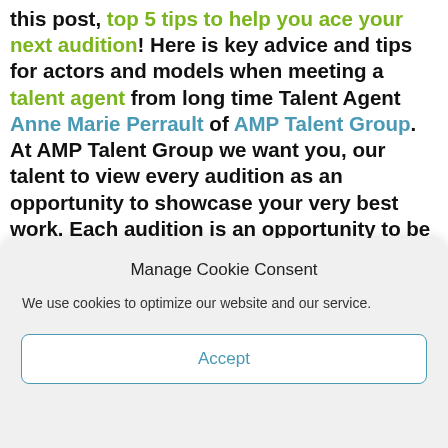this post, top 5 tips to help you ace your next audition! Here is key advice and tips for actors and models when meeting a talent agent from long time Talent Agent Anne Marie Perrault of AMP Talent Group. At AMP Talent Group we want you, our talent to view every audition as an opportunity to showcase your very best work. Each audition is an opportunity to be seen by casting directors, producers, directors and clients. Even if you think you are not perfect for the role, it is still an opportunity to be seen! Casting work on
Manage Cookie Consent
We use cookies to optimize our website and our service.
Accept